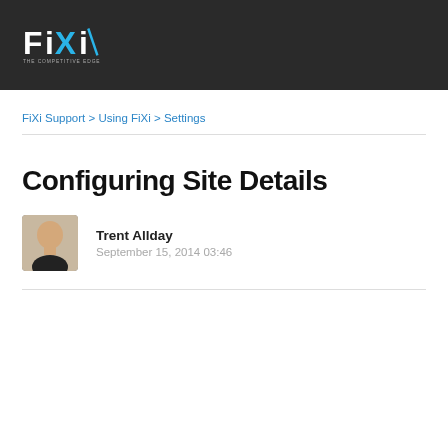[Figure (logo): FiXi - The Competitive Edge logo on dark background header bar]
FiXi Support > Using FiXi > Settings
Configuring Site Details
Trent Allday
September 15, 2014 03:46